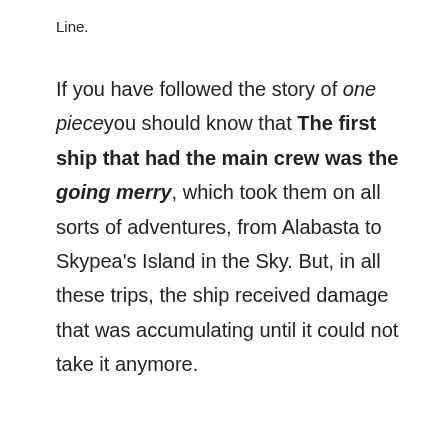Line.
If you have followed the story of one pieceyou should know that The first ship that had the main crew was the going merry, which took them on all sorts of adventures, from Alabasta to Skypea's Island in the Sky. But, in all these trips, the ship received damage that was accumulating until it could not take it anymore.